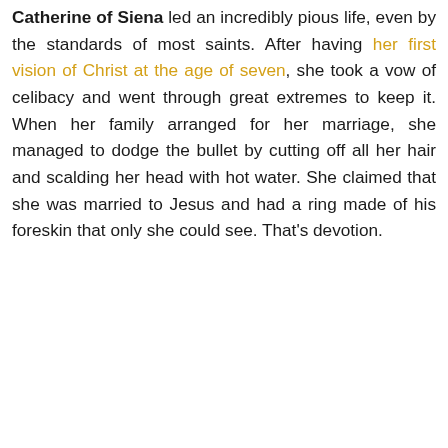Catherine of Siena led an incredibly pious life, even by the standards of most saints. After having her first vision of Christ at the age of seven, she took a vow of celibacy and went through great extremes to keep it. When her family arranged for her marriage, she managed to dodge the bullet by cutting off all her hair and scalding her head with hot water. She claimed that she was married to Jesus and had a ring made of his foreskin that only she could see. That's devotion.